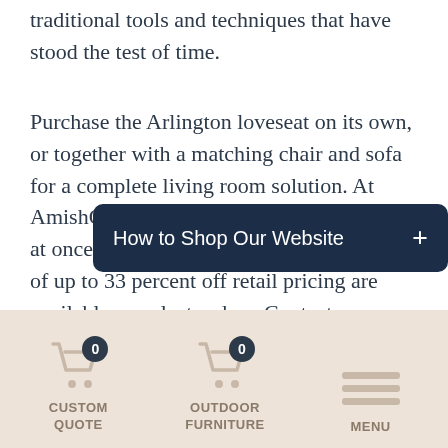traditional tools and techniques that have stood the test of time.
Purchase the Arlington loveseat on its own, or together with a matching chair and sofa for a complete living room solution. At AmishOutletStore.com, the more you buy at once, the more you can save – discounts of up to 33 percent off retail pricing are available on select orders. Contact our office and let one of our team members put together a complete package containing everything you need to transform an underused room into a comfortable s
How to Shop Our Website +
[Figure (infographic): Bottom navigation bar with two cart icons showing 0 items (CUSTOM QUOTE and OUTDOOR FURNITURE), and a hamburger menu icon (MENU), on a beige/tan background]